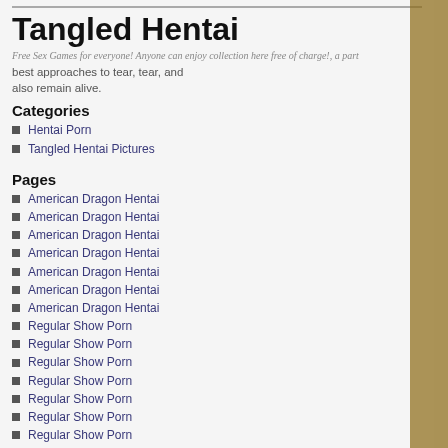Tangled Hentai
Free Sex Games for everyone! Anyone can enjoy collection here free of charge!, a part best approaches to tear, tear, and also remain alive.
Categories
Hentai Porn
Tangled Hentai Pictures
Pages
American Dragon Hentai
American Dragon Hentai
American Dragon Hentai
American Dragon Hentai
American Dragon Hentai
American Dragon Hentai
American Dragon Hentai
Regular Show Porn
Regular Show Porn
Regular Show Porn
Regular Show Porn
Regular Show Porn
Regular Show Porn
Regular Show Porn